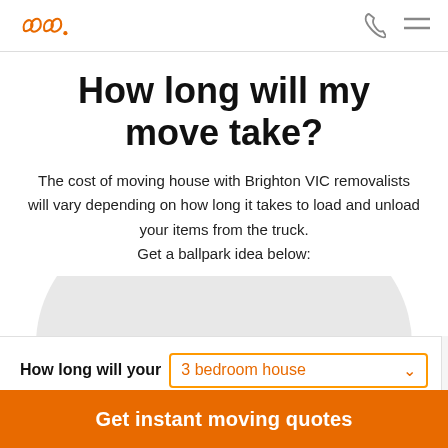[Figure (logo): Removalist company logo: two orange cursive loops followed by a period, on white background]
How long will my move take?
The cost of moving house with Brighton VIC removalists will vary depending on how long it takes to load and unload your items from the truck. Get a ballpark idea below:
[Figure (infographic): Partial grey semicircle gauge/speedometer widget at the bottom of the content area]
How long will your  3 bedroom house
Get instant moving quotes